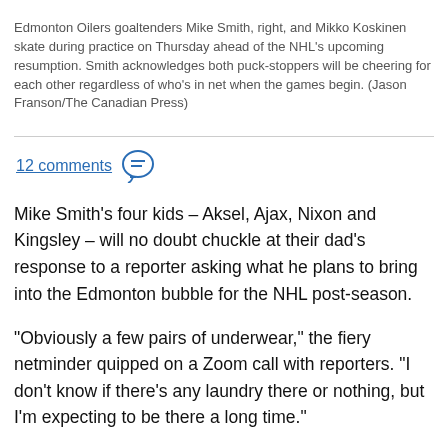Edmonton Oilers goaltenders Mike Smith, right, and Mikko Koskinen skate during practice on Thursday ahead of the NHL's upcoming resumption. Smith acknowledges both puck-stoppers will be cheering for each other regardless of who's in net when the games begin. (Jason Franson/The Canadian Press)
12 comments
Mike Smith's four kids – Aksel, Ajax, Nixon and Kingsley – will no doubt chuckle at their dad's response to a reporter asking what he plans to bring into the Edmonton bubble for the NHL post-season.
"Obviously a few pairs of underwear," the fiery netminder quipped on a Zoom call with reporters. "I don't know if there's any laundry there or nothing, but I'm expecting to be there a long time."
Goalies' readiness might be a wild card in